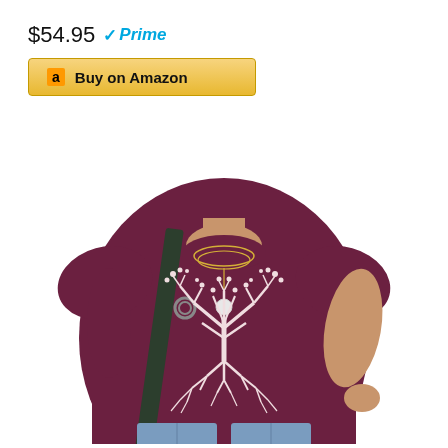$54.95 ✓Prime
[Figure (other): Amazon Buy on Amazon button with orange Amazon logo icon]
[Figure (photo): Woman wearing a dark maroon/burgundy short-sleeve t-shirt with a white tree of life graphic print (tree with roots), wearing a shoulder bag and necklace, jeans visible at bottom]